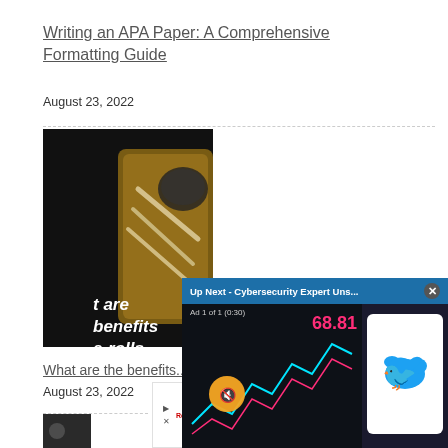Writing an APA Paper: A Comprehensive Formatting Guide
August 23, 2022
[Figure (photo): Dark background image with wooden tray holding pre-rolled items; white bold italic text reads: 't are benefits e-rolls -8?']
What are the benefits...
August 23, 2022
[Figure (screenshot): Video overlay: 'Up Next - Cybersecurity Expert Uns...' with close button X, Ad 1 of 1 (0:30) label, mute button icon, financial chart with pink/cyan lines showing 68.81, Twitter bird logo on phone screen]
[Figure (infographic): Ad banner with RealPage logo and text 'Member... World M...' in blue, with play and close icons]